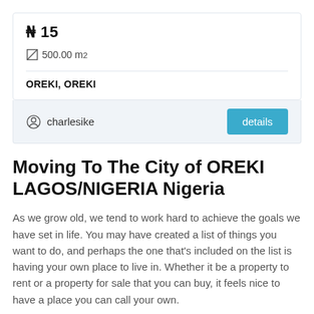₦ 15
500.00 m²
OREKI, OREKI
charlesike
Moving To The City of OREKI LAGOS/NIGERIA Nigeria
As we grow old, we tend to work hard to achieve the goals we have set in life. You may have created a list of things you want to do, and perhaps the one that's included on the list is having your own place to live in. Whether it be a property to rent or a property for sale that you can buy, it feels nice to have a place you can call your own.
One of the best places we can recommend is Nigeria. It is a place where you can enjoy a vibrant popular culture. There are also a lot of establishments that serve alcoholic beverages that you can enjoy. Moreover, there are also nightclubs, hotels, movie theatres, and of course the